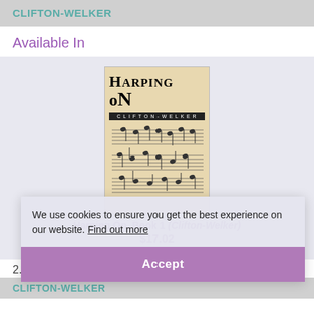CLIFTON-WELKER
Available In
[Figure (photo): Book cover of 'Harping On, Book 1' showing the title text and music notation sheet music on a tan/beige background]
Harping On, Book 1 (Clifton-Welker)
$17.02
ADD TO BASKET
We use cookies to ensure you get the best experience on our website. Find out more
Accept
2. Skaters
CLIFTON-WELKER